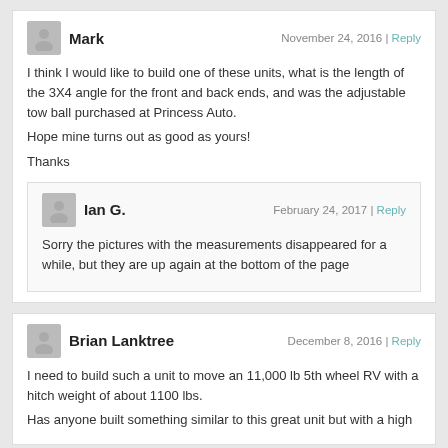Mark — November 24, 2016 | Reply
I think I would like to build one of these units, what is the length of the 3X4 angle for the front and back ends, and was the adjustable tow ball purchased at Princess Auto.
Hope mine turns out as good as yours!
Thanks
Ian G. — February 24, 2017 | Reply
Sorry the pictures with the measurements disappeared for a while, but they are up again at the bottom of the page
Brian Lanktree — December 8, 2016 | Reply
I need to build such a unit to move an 11,000 lb 5th wheel RV with a hitch weight of about 1100 lbs.
Has anyone built something similar to this great unit but with a high capacity 5th wheel mount for about 5 passes of the 11,000 lbs load.